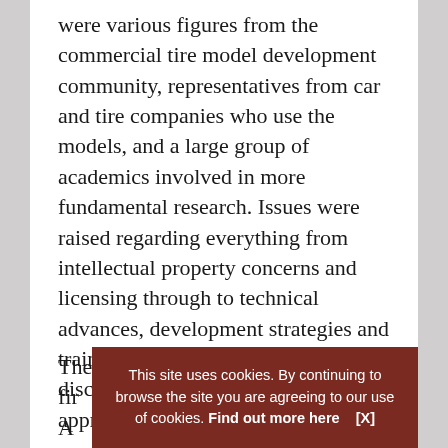were various figures from the commercial tire model development community, representatives from car and tire companies who use the models, and a large group of academics involved in more fundamental research. Issues were raised regarding everything from intellectual property concerns and licensing through to technical advances, development strategies and training. Boiling all this down, most discussions centered on one of two approaches.
The fir... A comp... model,...
This site uses cookies. By continuing to browse the site you are agreeing to our use of cookies. Find out more here [X]